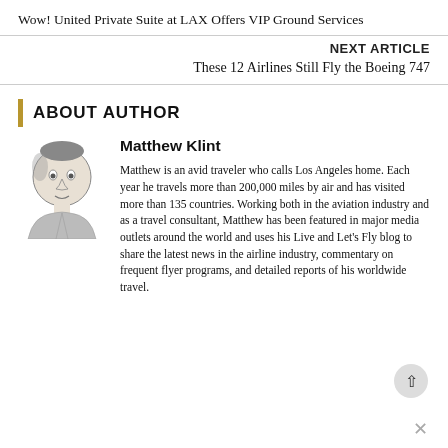Wow! United Private Suite at LAX Offers VIP Ground Services
NEXT ARTICLE
These 12 Airlines Still Fly the Boeing 747
ABOUT AUTHOR
Matthew Klint
Matthew is an avid traveler who calls Los Angeles home. Each year he travels more than 200,000 miles by air and has visited more than 135 countries. Working both in the aviation industry and as a travel consultant, Matthew has been featured in major media outlets around the world and uses his Live and Let's Fly blog to share the latest news in the airline industry, commentary on frequent flyer programs, and detailed reports of his worldwide travel.